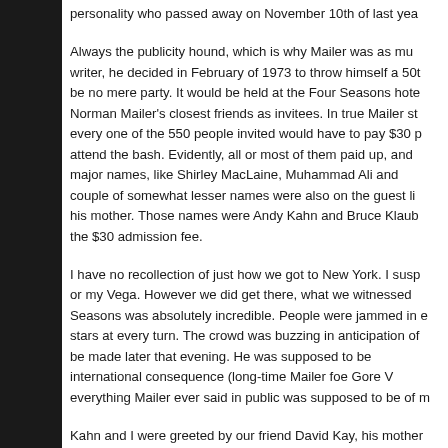personality who passed away on November 10th of last yea...
Always the publicity hound, which is why Mailer was as mu... writer, he decided in February of 1973 to throw himself a 50t... be no mere party. It would be held at the Four Seasons hote... Norman Mailer's closest friends as invitees. In true Mailer st... every one of the 550 people invited would have to pay $30 p... attend the bash. Evidently, all or most of them paid up, an... major names, like Shirley MacLaine, Muhammad Ali and... couple of somewhat lesser names were also on the guest l... his mother. Those names were Andy Kahn and Bruce Klau... the $30 admission fee.
I have no recollection of just how we got to New York. I susp... or my Vega. However we did get there, what we witnesse... Seasons was absolutely incredible. People were jammed in e... stars at every turn. The crowd was buzzing in anticipation o... be made later that evening. He was supposed to be... international consequence (long-time Mailer foe Gore... everything Mailer ever said in public was supposed to be of m...
Kahn and I were greeted by our friend David Kay, his mother... "Man of the Hour" in person. Mailer was quite gracious, an... that he heard of the fine work we were doing as young... ...